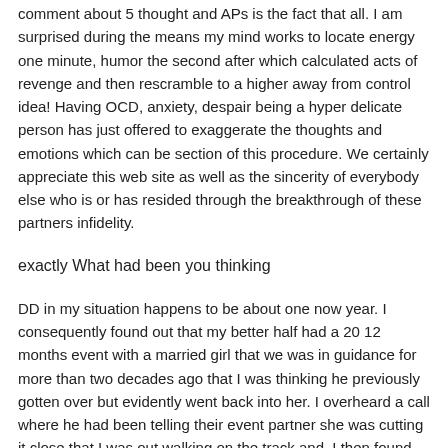comment about 5 thought and APs is the fact that all. I am surprised during the means my mind works to locate energy one minute, humor the second after which calculated acts of revenge and then rescramble to a higher away from control idea! Having OCD, anxiety, despair being a hyper delicate person has just offered to exaggerate the thoughts and emotions which can be section of this procedure. We certainly appreciate this web site as well as the sincerity of everybody else who is or has resided through the breakthrough of these partners infidelity.
exactly What had been you thinking
DD in my situation happens to be about one now year. I consequently found out that my better half had a 20 12 months event with a married girl that we was in guidance for more than two decades ago that I was thinking he previously gotten over but evidently went back into her. I overheard a call where he had been telling their event partner she was cutting it close that I was out walking on the track and. I then found out later on from him that she arrived on our road so he could provide her some funds. Years back through the very first event they worked together into the insurance coverage company. But later worked separate jobs. We knew things weren't perfect within our wedding but We never ever thought he previously gone back again to her. I happened to be